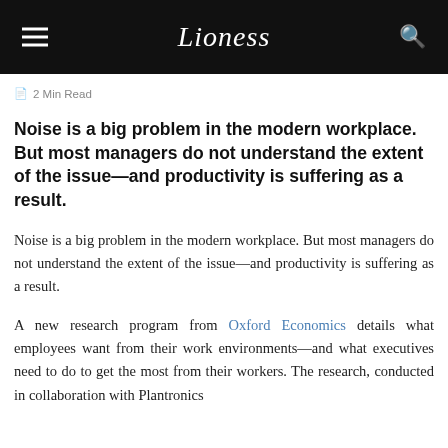Lioness
2 Min Read
Noise is a big problem in the modern workplace. But most managers do not understand the extent of the issue—and productivity is suffering as a result.
Noise is a big problem in the modern workplace. But most managers do not understand the extent of the issue—and productivity is suffering as a result.
A new research program from Oxford Economics details what employees want from their work environments—and what executives need to do to get the most from their workers. The research, conducted in collaboration with Plantronics